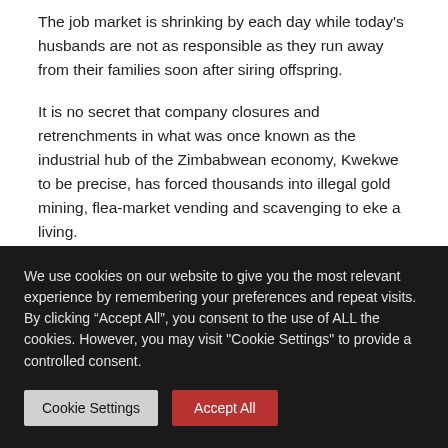The job market is shrinking by each day while today's husbands are not as responsible as they run away from their families soon after siring offspring.
It is no secret that company closures and retrenchments in what was once known as the industrial hub of the Zimbabwean economy, Kwekwe to be precise, has forced thousands into illegal gold mining, flea-market vending and scavenging to eke a living.
We use cookies on our website to give you the most relevant experience by remembering your preferences and repeat visits. By clicking “Accept All”, you consent to the use of ALL the cookies. However, you may visit "Cookie Settings" to provide a controlled consent.